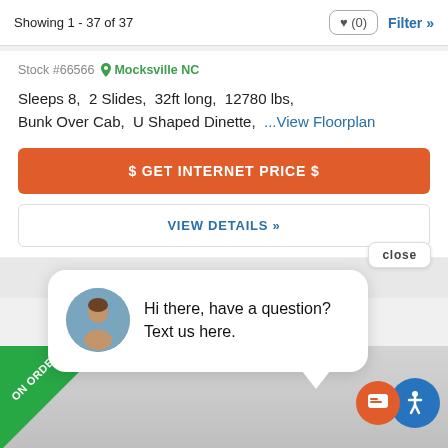Showing 1 - 37 of 37
Stock #66566  Mocksville NC
Sleeps 8,  2 Slides,  32ft long,  12780 lbs,
Bunk Over Cab,  U Shaped Dinette,  ...View Floorplan
$ GET INTERNET PRICE $
VIEW DETAILS »
close
Hi there, have a question? Text us here.
[Figure (screenshot): Bottom portion of RV listing page showing an RV image with 'ON ORDER' badge in green triangle at top-left corner]
[Figure (infographic): Two circular icons: orange chat icon and blue accessibility icon in bottom-right corner]